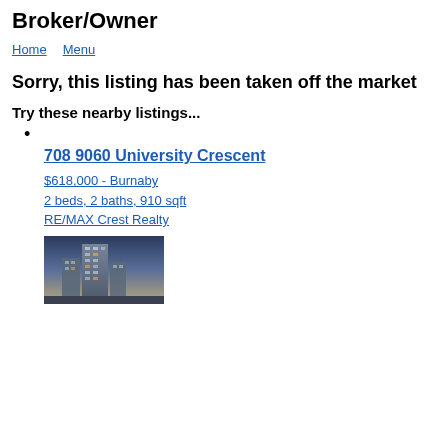Broker/Owner
Home  Menu
Sorry, this listing has been taken off the market
Try these nearby listings...
•
708 9060 University Crescent
$618,000 - Burnaby
2 beds, 2 baths, 910 sqft
RE/MAX Crest Realty
[Figure (photo): Photo of a modern high-rise residential building against a dusk/twilight sky]